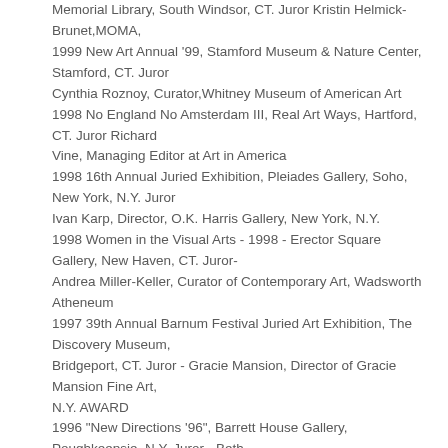Memorial Library, South Windsor, CT. Juror Kristin Helmick-Brunet,MOMA,
1999 New Art Annual '99, Stamford Museum & Nature Center, Stamford, CT. Juror
Cynthia Roznoy, Curator,Whitney Museum of American Art
1998 No England No Amsterdam III, Real Art Ways, Hartford, CT. Juror Richard
Vine, Managing Editor at Art in America
1998 16th Annual Juried Exhibition, Pleiades Gallery, Soho, New York, N.Y. Juror
Ivan Karp, Director, O.K. Harris Gallery, New York, N.Y.
1998 Women in the Visual Arts - 1998 - Erector Square Gallery, New Haven, CT. Juror-
Andrea Miller-Keller, Curator of Contemporary Art, Wadsworth Atheneum
1997 39th Annual Barnum Festival Juried Art Exhibition, The Discovery Museum,
Bridgeport, CT. Juror - Gracie Mansion, Director of Gracie Mansion Fine Art,
N.Y. AWARD
1996 "New Directions '96", Barrett House Gallery, Poughkeepsie, N.Y. Juror - Beth
Venn, Curator, The Whitney Museum of American Art, New York, N.Y
1995 Small Works Exhibition, Chuck Levitan Gallery, Soho, New York, N.Y.
1994 National Juried Painting Exhibition, Gallery 84, 50 W. 57th St., New York, N.Y.
Juror - Theodore F. Wolf.
1994 14th Annual Faber Birren National Color Award Show, Stamford Art